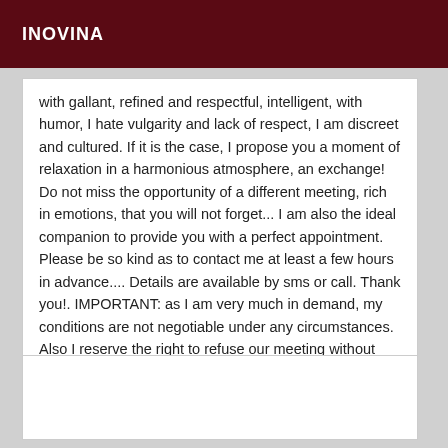INOVINA
with gallant, refined and respectful, intelligent, with humor, I hate vulgarity and lack of respect, I am discreet and cultured. If it is the case, I propose you a moment of relaxation in a harmonious atmosphere, an exchange! Do not miss the opportunity of a different meeting, rich in emotions, that you will not forget... I am also the ideal companion to provide you with a perfect appointment. Please be so kind as to contact me at least a few hours in advance.... Details are available by sms or call. Thank you!. IMPORTANT: as I am very much in demand, my conditions are not negotiable under any circumstances. Also I reserve the right to refuse our meeting without having to justify myself :) Annabelle :-)